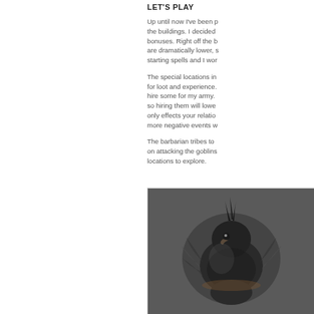LET'S PLAY
Up until now I've been p... the buildings. I decided... bonuses. Right off the b... are dramatically lower, s... starting spells and I wor...
The special locations in... for loot and experience.... hire some for my army.... so hiring them will lowe... only effects your relatio... more negative events w...
The barbarian tribes to... on attacking the goblins... locations to explore.
[Figure (photo): A dark bird or creature image, appearing to be a close-up photograph with dark background showing feathers or wings]